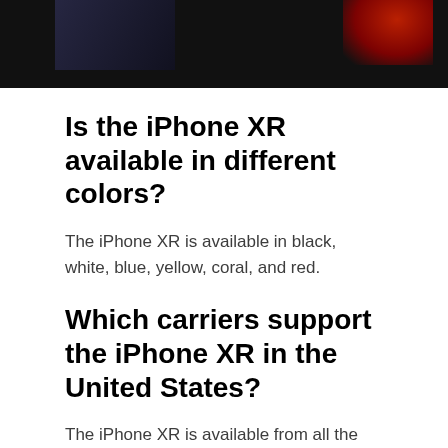[Figure (photo): Dark banner image with blue/dark tones on the left and a red accent on the right, likely part of an iPhone XR promotional image.]
Is the iPhone XR available in different colors?
The iPhone XR is available in black, white, blue, yellow, coral, and red.
Which carriers support the iPhone XR in the United States?
The iPhone XR is available from all the major carriers in the United States, including AT&T, Verizon, T-